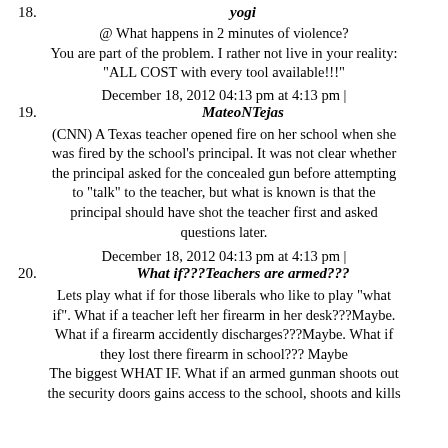18. yogi
@ What happens in 2 minutes of violence? You are part of the problem. I rather not live in your reality: "ALL COST with every tool available!!!"
December 18, 2012 04:13 pm at 4:13 pm | 19. MateoNTejas
(CNN) A Texas teacher opened fire on her school when she was fired by the school's principal. It was not clear whether the principal asked for the concealed gun before attempting to "talk" to the teacher, but what is known is that the principal should have shot the teacher first and asked questions later.
December 18, 2012 04:13 pm at 4:13 pm | 20. What if???Teachers are armed???
Lets play what if for those liberals who like to play "what if". What if a teacher left her firearm in her desk???Maybe. What if a firearm accidently discharges???Maybe. What if they lost there firearm in school??? Maybe The biggest WHAT IF. What if an armed gunman shoots out the security doors gains access to the school, shoots and kills